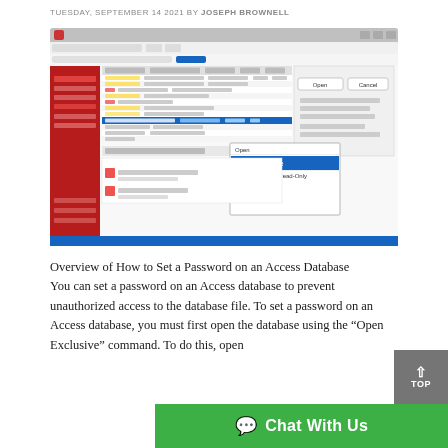TUESDAY, SEPTEMBER 14 2021 BY JOSEPH BROWNELL
[Figure (screenshot): Screenshot of Microsoft Access application showing a file open dialog with a context menu open, highlighting the 'Open Exclusive' option. The dialog shows a list of files and folders in a Windows file explorer interface. The Access application window is visible in the background with a red sidebar panel.]
Overview of How to Set a Password on an Access Database            You can set a password on an Access database to prevent unauthorized access to the database file. To set a password on an Access database, you must first open the database using the “Open Exclusive” command. To do this, open